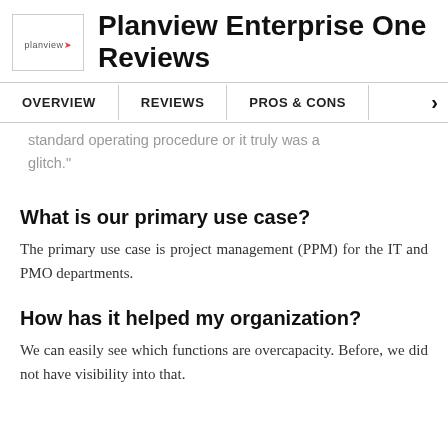Planview Enterprise One Reviews
OVERVIEW | REVIEWS | PROS & CONS
standard operating procedure or it truly was a glitch."
What is our primary use case?
The primary use case is project management (PPM) for the IT and PMO departments.
How has it helped my organization?
We can easily see which functions are overcapacity. Before, we did not have visibility into that.